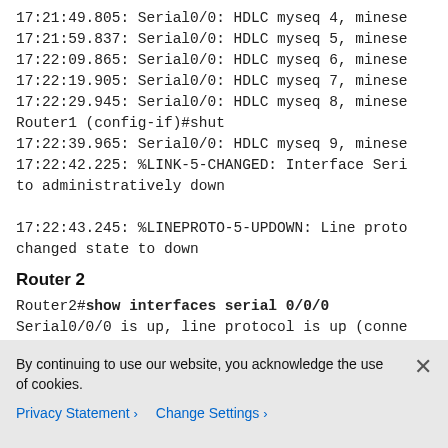17:21:49.805: Serial0/0: HDLC myseq 4, minese
17:21:59.837: Serial0/0: HDLC myseq 5, minese
17:22:09.865: Serial0/0: HDLC myseq 6, minese
17:22:19.905: Serial0/0: HDLC myseq 7, minese
17:22:29.945: Serial0/0: HDLC myseq 8, minese
Router1 (config-if)#shut
17:22:39.965: Serial0/0: HDLC myseq 9, minese
17:22:42.225: %LINK-5-CHANGED: Interface Seri
to administratively down

17:22:43.245: %LINEPROTO-5-UPDOWN: Line proto
changed state to down
Router 2
Router2#show interfaces serial 0/0/0
Serial0/0/0 is up, line protocol is up (conne
By continuing to use our website, you acknowledge the use of cookies.
Privacy Statement > Change Settings >